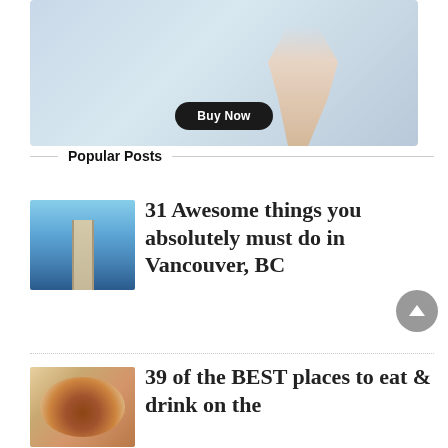[Figure (photo): Advertisement banner showing a hand holding a camera/device against a blue-grey gradient background, with a 'Buy Now' button]
Popular Posts
[Figure (photo): Thumbnail of a suspended walkway bridge with mountain and lake view in Vancouver, BC]
31 Awesome things you absolutely must do in Vancouver, BC
[Figure (photo): Thumbnail of food/drinks plate]
39 of the BEST places to eat & drink on the